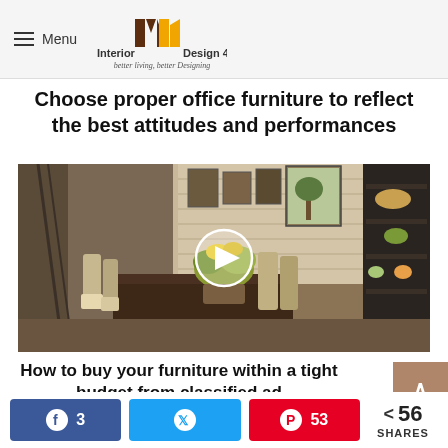Menu | Interior Design 4 | better living, better Designing
Choose proper office furniture to reflect the best attitudes and performances
[Figure (photo): Interior of a furniture store showing dining tables, chairs, decorative shelving unit with baskets and plants, artwork on the walls, with a play button overlay in the center]
How to buy your furniture within a tight budget from classified ad
< 56 SHARES | Facebook 3 | Twitter | Pinterest 53